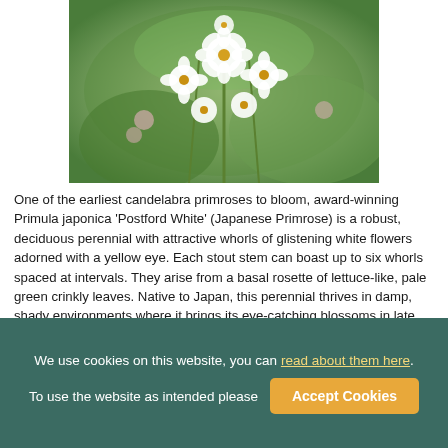[Figure (photo): Close-up photo of white Primula japonica 'Postford White' flowers with yellow centers against green foliage background]
One of the earliest candelabra primroses to bloom, award-winning Primula japonica 'Postford White' (Japanese Primrose) is a robust, deciduous perennial with attractive whorls of glistening white flowers adorned with a yellow eye. Each stout stem can boast up to six whorls spaced at intervals. They arise from a basal rosette of lettuce-like, pale green crinkly leaves. Native to Japan, this perennial thrives in damp, shady environments where it brings its eye-catching blossoms in late spring to early summer. Plant in groups or drifts with ferns, spring bulbs or ornamental grasses in damp open woodlands, next to streams and ponds.
Add to Collection ▾
We use cookies on this website, you can read about them here. To use the website as intended please  Accept Cookies